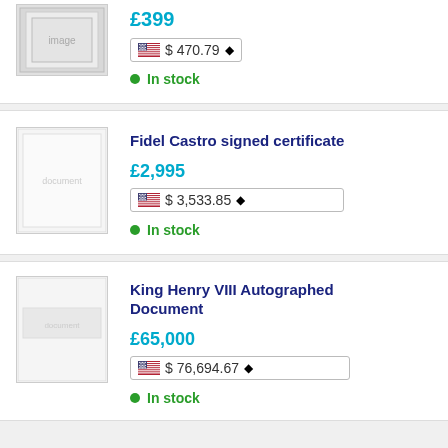£399
$ 470.79
In stock
Fidel Castro signed certificate
£2,995
$ 3,533.85
In stock
King Henry VIII Autographed Document
£65,000
$ 76,694.67
In stock